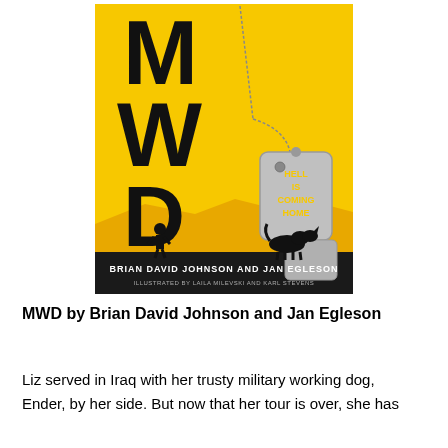[Figure (illustration): Book cover of MWD by Brian David Johnson and Jan Egleson. Yellow desert background with large black letters M, W, D arranged vertically with a chain and military dog tags reading HELL IS COMING HOME. Silhouettes of a soldier and a military dog at the bottom. Authors listed: Brian David Johnson and Jan Egleson. Illustrated by Laila Milevski and Karl Stevens.]
MWD by Brian David Johnson and Jan Egleson
Liz served in Iraq with her trusty military working dog, Ender, by her side. But now that her tour is over, she has